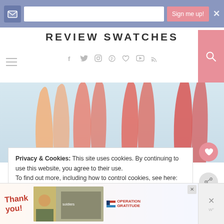Sign me up! [newsletter signup bar with input field]
REVIEW SWATCHES
Navigation with social icons: f, twitter, instagram, pinterest, heart, youtube, rss, and search button
[Figure (illustration): Decorative brush stroke swatches in peach, salmon, and red/coral tones on a light blue background, arranged in vertical flame-like shapes]
Privacy & Cookies: This site uses cookies. By continuing to use this website, you agree to their use.
To find out more, including how to control cookies, see here: Privacy Policy
[Figure (infographic): Advertisement banner: 'Thank you!' with Operation Gratitude military appreciation imagery and close button]